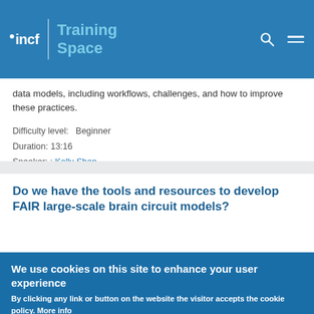incf | Training Space
data models, including workflows, challenges, and how to improve these practices.
Difficulty level:   Beginner
Duration: 13:16
Speaker: : Kelly Shen
Do we have the tools and resources to develop FAIR large-scale brain circuit models?
We use cookies on this site to enhance your user experience
By clicking any link or button on the website the visitor accepts the cookie policy. More info
Accept   No, thanks